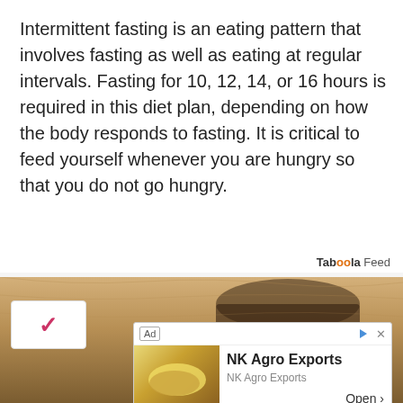Intermittent fasting is an eating pattern that involves fasting as well as eating at regular intervals. Fasting for 10, 12, 14, or 16 hours is required in this diet plan, depending on how the body responds to fasting. It is critical to feed yourself whenever you are hungry so that you do not go hungry.
[Figure (screenshot): AoroME advertisement banner with green logo text and leaf graphic, with a 'Read More' button below]
[Figure (screenshot): Taboola Feed section with background photo of food, a checkmark overlay box, and NK Agro Exports ad popup with lemon/food image]